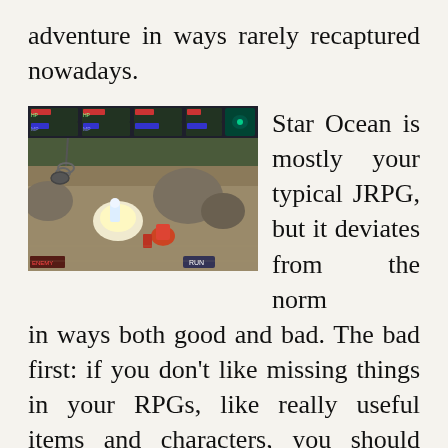adventure in ways rarely recaptured nowadays.
[Figure (screenshot): Screenshot of Star Ocean RPG gameplay showing characters in combat, with HUD elements including HP bars and character stats at the top of the screen.]
Star Ocean is mostly your typical JRPG, but it deviates from the norm in ways both good and bad. The bad first: if you don't like missing things in your RPGs, like really useful items and characters, you should either stay away from the series entirely or always use a walkthrough. Star Ocean, and in particular its sequel,